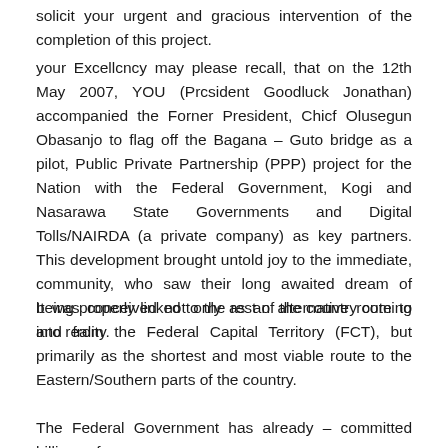solicit your urgent and gracious intervention of the completion of this project.
your Excellcncy may please recall, that on the 12th May 2007, YOU (Prcsident Goodluck Jonathan) accompanied the Forner President, Chicf Olusegun Obasanjo to flag off the Bagana – Guto bridge as a pilot, Public Private Partnership (PPP) project for the Nation with the Federal Government, Kogi and Nasarawa State Governments and Digital Tolls/NAIRDA (a private company) as key partners. This development brought untold joy to the immediate, community, who saw their long awaited dream of being properly linked to the rest of the country coming into reality.
It was conceived not only as an alternative route to and from the Federal Capital Territory (FCT), but primarily as the shortest and most viable route to the Eastern/Southern parts of the country.
The Federal Government has already – committed billions of